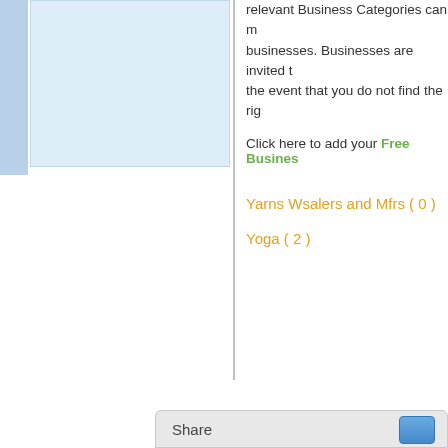[Figure (other): Left panel with blue sidebar and light blue content box]
relevant Business Categories can m... businesses. Businesses are invited t... the event that you do not find the rig...
Click here to add your Free Busines...
Yarns Wsalers and Mfrs ( 0 )
Yoga ( 2 )
Share